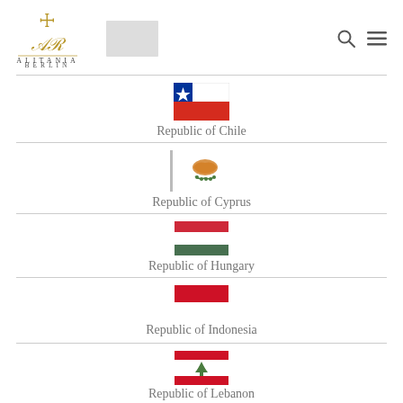ALITANIA BERLIN
[Figure (illustration): Republic of Chile flag - white top half, red bottom half]
Republic of Chile
[Figure (illustration): Republic of Cyprus flag - white background with copper map and olive branches]
Republic of Cyprus
[Figure (illustration): Republic of Hungary flag - red, white, green horizontal stripes]
Republic of Hungary
[Figure (illustration): Republic of Indonesia flag - red top half, white bottom half]
Republic of Indonesia
[Figure (illustration): Republic of Lebanon flag - red, white with cedar tree, red stripes]
Republic of Lebanon